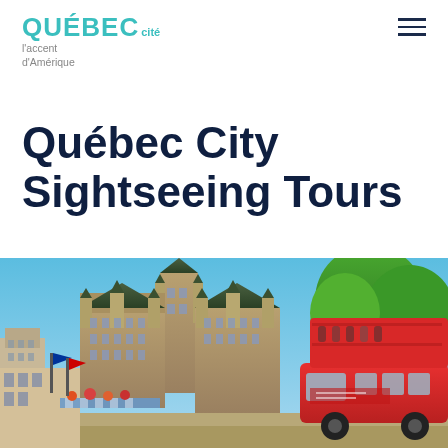QUÉBEC cité — l'accent d'Amérique
Québec City Sightseeing Tours
[Figure (photo): Photograph of Château Frontenac and a red double-decker sightseeing bus in Québec City, with blue sky and green trees in the background.]